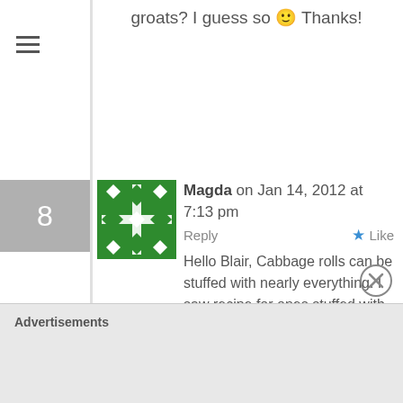groats? I guess so 🙂 Thanks!
[Figure (illustration): Green and white decorative avatar/icon with geometric cross pattern]
Magda on Jan 14, 2012 at 7:13 pm   Reply   ★ Like
Hello Blair, Cabbage rolls can be stuffed with nearly everything. I saw recipe for ones stuffed with beans and rice (not Polish recipe, but I like the idea). I think any kind of kasha or cereals will work, also lentils will work. I love vintage books, must look for some old Polish cookbooks when I will be in Poland.
Advertisements